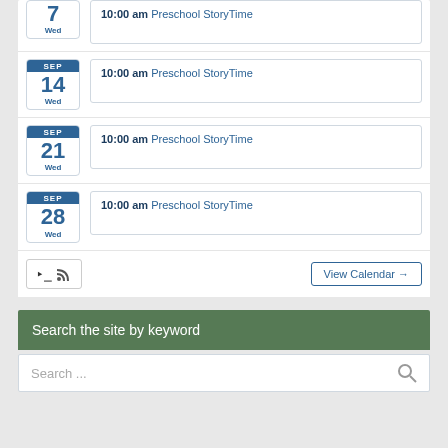10:00 am Preschool StoryTime - Sep 7, Wed
10:00 am Preschool StoryTime - Sep 14, Wed
10:00 am Preschool StoryTime - Sep 21, Wed
10:00 am Preschool StoryTime - Sep 28, Wed
View Calendar
Search the site by keyword
Search ...